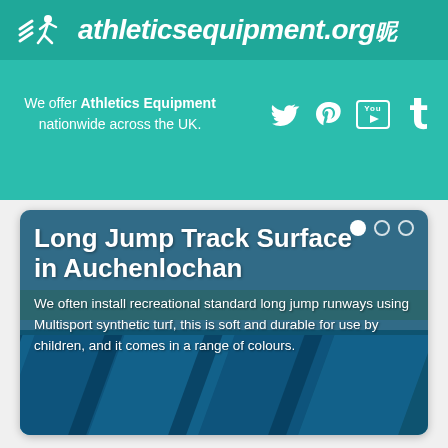athleticsequipment.org
We offer Athletics Equipment nationwide across the UK.
[Figure (logo): Social media icons: Twitter, Pinterest, YouTube, Tumblr]
[Figure (photo): Long jump track surface with blue synthetic lanes, outdoor sports facility]
Long Jump Track Surface in Auchenlochan
We often install recreational standard long jump runways using Multisport synthetic turf, this is soft and durable for use by children, and it comes in a range of colours.